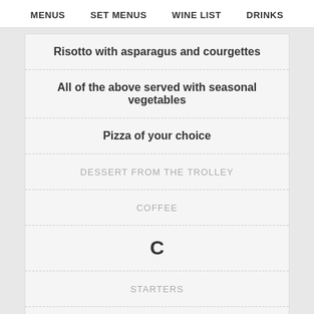MENUS  SET MENUS  WINE LIST  DRINKS
Risotto with asparagus and courgettes
All of the above served with seasonal vegetables
Pizza of your choice
DESSERT FROM THE TROLLEY
COFFEE
C
STARTERS
MAINS